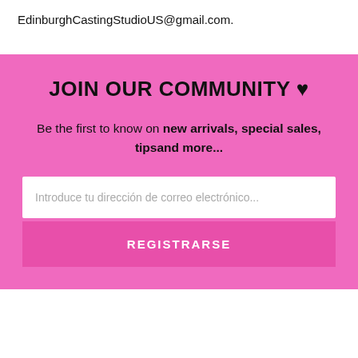EdinburghCastingStudioUS@gmail.com.
JOIN OUR COMMUNITY ♥
Be the first to know on new arrivals, special sales, tips and more...
Introduce tu dirección de correo electrónico...
REGISTRARSE
FOOTER